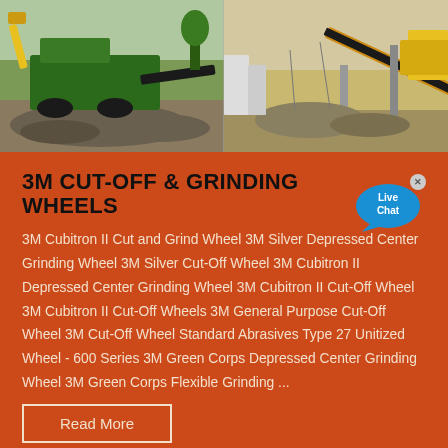[Figure (photo): Two industrial mining/crushing machinery photos side by side: left shows green mobile crusher on gravel site, right shows yellow conveyor belt system at a mining facility]
3M CUT-OFF & GRINDING WHEELS
3M Cubitron II Cut and Grind Wheel 3M Silver Depressed Center Grinding Wheel 3M Silver Cut-Off Wheel 3M Cubitron II Depressed Center Grinding Wheel 3M Cubitron II Cut-Off Wheel 3M Cubitron II Cut-Off Wheels 3M General Purpose Cut-Off Wheel 3M Cut-Off Wheel Standard Abrasives Type 27 Unitized Wheel - 600 Series 3M Green Corps Depressed Center Grinding Wheel 3M Green Corps Flexible Grinding ...
Read More